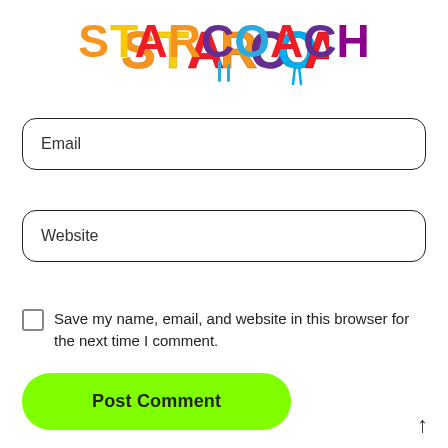[Figure (logo): STARCOACH colorful logo with paint drip effect, each letter in different color (orange, yellow, red, orange, purple, teal, red, purple)]
Email
Website
Save my name, email, and website in this browser for the next time I comment.
Post Comment